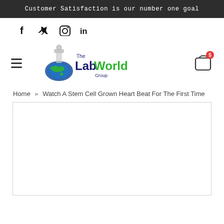Customer Satisfaction is our number one goal
[Figure (logo): Social media icons: Facebook (f), Twitter (bird), Instagram (camera), LinkedIn (in)]
[Figure (logo): The LabWorld Group logo with flask and globe icon, hamburger menu icon, shopping cart icon with red badge]
Home » Watch A Stem Cell Grown Heart Beat For The First Time
[Figure (screenshot): White article content area placeholder box]